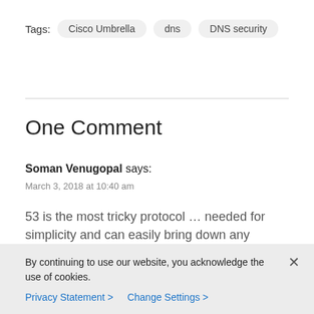Tags: Cisco Umbrella   dns   DNS security
One Comment
Soman Venugopal says:
March 3, 2018 at 10:40 am
53 is the most tricky protocol … needed for simplicity and can easily bring down any service
By continuing to use our website, you acknowledge the use of cookies.
Privacy Statement >   Change Settings >